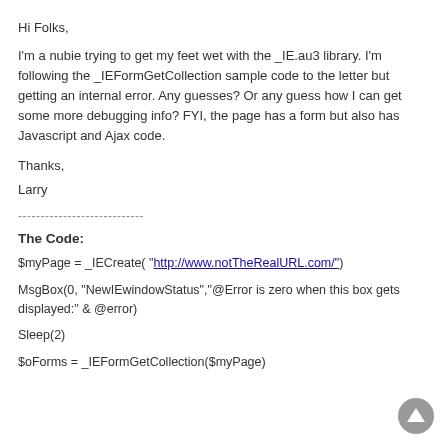Hi Folks,
I'm a nubie trying to get my feet wet with the _IE.au3 library. I'm following the _IEFormGetCollection sample code to the letter but getting an internal error. Any guesses? Or any guess how I can get some more debugging info? FYI, the page has a form but also has Javascript and Ajax code.
Thanks,
Larry
----------------------------
The Code:
$myPage = _IECreate( "http://www.notTheRealURL.com/")
MsgBox(0, "NewIEwindowStatus","@Error is zero when this box gets displayed:" & @error)
Sleep(2)
$oForms = _IEFormGetCollection($myPage)